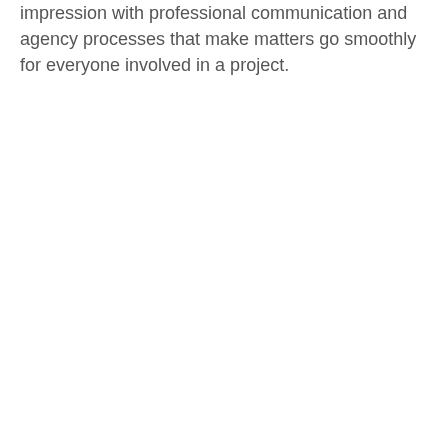impression with professional communication and agency processes that make matters go smoothly for everyone involved in a project.